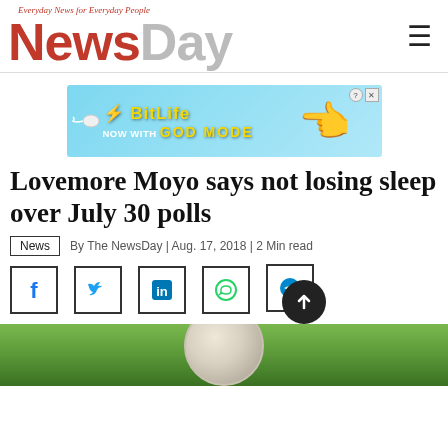Everyday News for Everyday People — NewsDay
[Figure (screenshot): BitLife advertisement banner: 'NOW WITH GOD MODE' in cyan/blue background with yellow text and pointing hand graphic]
Lovemore Moyo says not losing sleep over July 30 polls
News | By The NewsDay | Aug. 17, 2018 | 2 Min read
[Figure (infographic): Social media share buttons: Facebook, Twitter, LinkedIn, WhatsApp, Telegram icons in square borders, and a scroll-to-top button]
[Figure (photo): Partial photo at bottom of page showing a golf ball on green grass background]